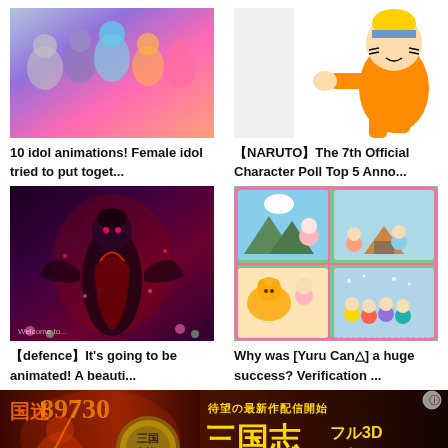[Figure (illustration): Anime idol group image with multiple female characters in colorful outfits]
10 idol animations! Female idol tried to put toget...
[Figure (illustration): Naruto anime character in orange jumpsuit running/crouching pose]
【NARUTO】The 7th Official Character Poll Top 5 Anno...
[Figure (illustration): Dark anime female character in armored outfit, Welcome to text visible]
【defence】It's going to be animated! A beauti...
[Figure (illustration): Yuru Camp manga/anime collage with multiple characters in outdoor camping scenes]
Why was [Yuru Can△] a huge success? Verification ...
[Figure (photo): Japanese game advertisement banner - 三国志 (Sangokushi) full 3D action game ad with Japanese text 待望の最新作配信開始 三国志フル3Dアクション]
PR